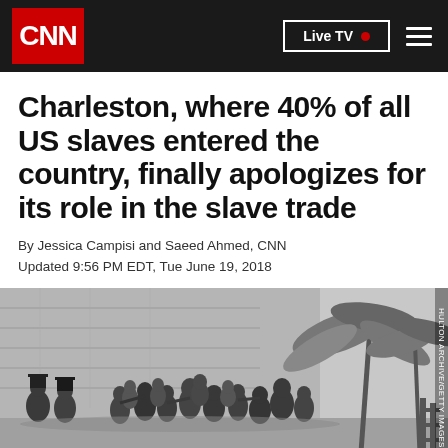CNN | Live TV
Charleston, where 40% of all US slaves entered the country, finally apologizes for its role in the slave trade
By Jessica Campisi and Saeed Ahmed, CNN
Updated 9:56 PM EDT, Tue June 19, 2018
[Figure (illustration): Black and white historical illustration showing a crowd of enslaved people being traded at a slave market, with palm trees visible in the background. Image credit: HULTON ARCHIVE/GETTY IMAGES]